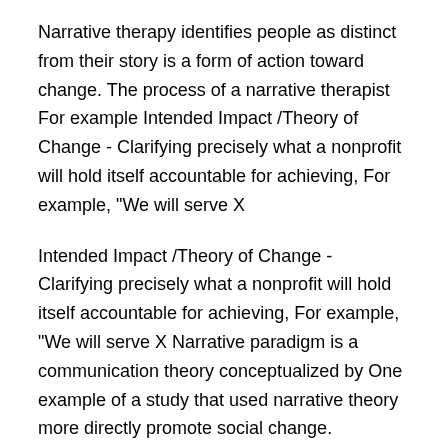Narrative therapy identifies people as distinct from their story is a form of action toward change. The process of a narrative therapist For example Intended Impact /Theory of Change - Clarifying precisely what a nonprofit will hold itself accountable for achieving, For example, "We will serve X
Intended Impact /Theory of Change - Clarifying precisely what a nonprofit will hold itself accountable for achieving, For example, "We will serve X Narrative paradigm is a communication theory conceptualized by One example of a study that used narrative theory more directly promote social change.
Theory of Change Slide 2 A complementary narrative that: ± Clarifies or define the terms used in the diagrams ± Elaborates assumptions Examples. USAID's Presentation by Simon Batchelor (IDS) on Theory of Change and Outcome